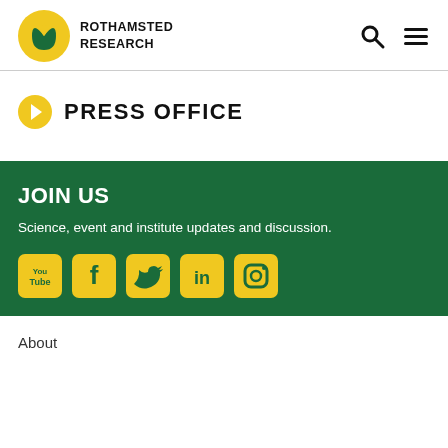ROTHAMSTED RESEARCH
PRESS OFFICE
JOIN US
Science, event and institute updates and discussion.
[Figure (infographic): Social media icons: YouTube, Facebook, Twitter, LinkedIn, Instagram — yellow rounded square icons on dark green background]
About